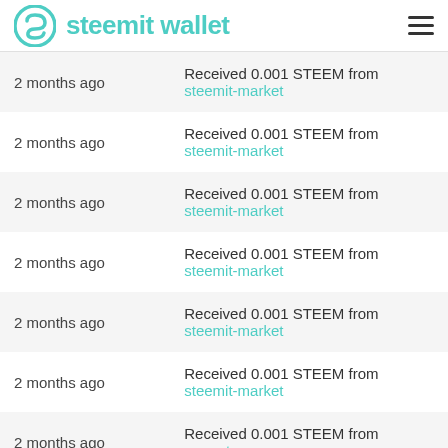steemit wallet
| Time | Transaction |
| --- | --- |
| 2 months ago | Received 0.001 STEEM from steemit-market |
| 2 months ago | Received 0.001 STEEM from steemit-market |
| 2 months ago | Received 0.001 STEEM from steemit-market |
| 2 months ago | Received 0.001 STEEM from steemit-market |
| 2 months ago | Received 0.001 STEEM from steemit-market |
| 2 months ago | Received 0.001 STEEM from steemit-market |
| 2 months ago | Received 0.001 STEEM from earn.steem |
| 2 months ago | Received 0.001 STEEM from exnihilo.witness |
| 2 months ago | Received 0.220 STEEM from dlease |